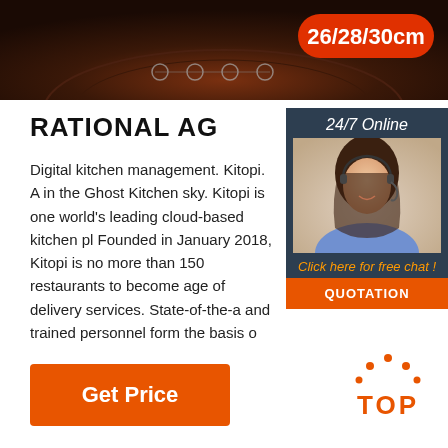[Figure (photo): Top banner image of a cooking appliance/stove control panel with dark reddish-brown background and a red pill-shaped badge showing '26/28/30cm']
RATIONAL AG
[Figure (infographic): Sidebar with dark blue background showing '24/7 Online', a photo of a woman with headset, 'Click here for free chat!' in orange, and an orange 'QUOTATION' button]
Digital kitchen management. Kitopi. A in the Ghost Kitchen sky. Kitopi is one world's leading cloud-based kitchen pl Founded in January 2018, Kitopi is no more than 150 restaurants to become age of delivery services. State-of-the-a and trained personnel form the basis o
...
[Figure (logo): TOP logo in orange with dots above forming an arch shape]
Get Price